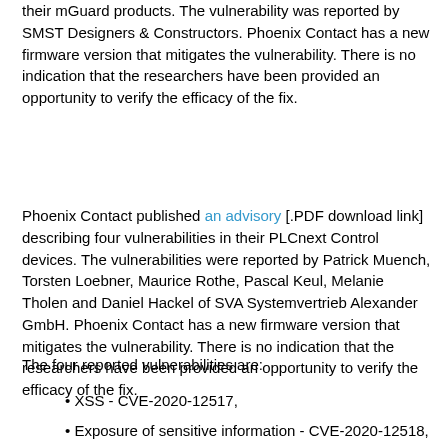their mGuard products. The vulnerability was reported by SMST Designers & Constructors. Phoenix Contact has a new firmware version that mitigates the vulnerability. There is no indication that the researchers have been provided an opportunity to verify the efficacy of the fix.
Phoenix Contact published an advisory [.PDF download link] describing four vulnerabilities in their PLCnext Control devices. The vulnerabilities were reported by Patrick Muench, Torsten Loebner, Maurice Rothe, Pascal Keul, Melanie Tholen and Daniel Hackel of SVA Systemvertrieb Alexander GmbH. Phoenix Contact has a new firmware version that mitigates the vulnerability. There is no indication that the researchers have been provided an opportunity to verify the efficacy of the fix.
The four reported vulnerabilities are:
XSS - CVE-2020-12517,
Exposure of sensitive information - CVE-2020-12518,